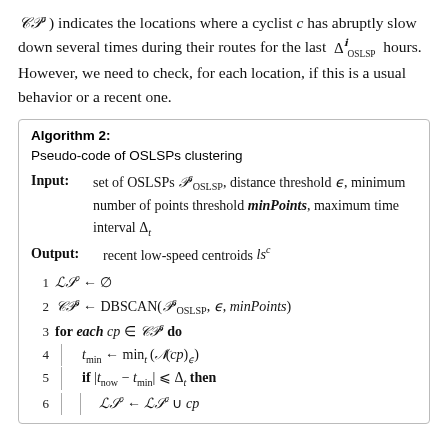CP^c ) indicates the locations where a cyclist c has abruptly slow down several times during their routes for the last Delta^c_OSLSP hours. However, we need to check, for each location, if this is a usual behavior or a recent one.
Algorithm 2:
Pseudo-code of OSLSPs clustering
Input: set of OSLSPs P^c_OSLSP, distance threshold epsilon, minimum number of points threshold minPoints, maximum time interval Delta_t
Output: recent low-speed centroids ls^c
1  LS^c <- empty set
2  CP^c <- DBSCAN(P^c_OSLSP, epsilon, minPoints)
3  for each cp in CP^c do
4    t_min <- min_t(N(cp)_epsilon)
5    if |t_now - t_min| <= Delta_t then
6      LS^c <- LS^c union cp